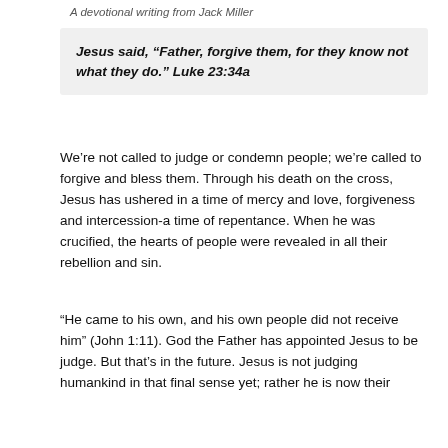A devotional writing from Jack Miller
Jesus said, “Father, forgive them, for they know not what they do.” Luke 23:34a
We’re not called to judge or condemn people; we’re called to forgive and bless them. Through his death on the cross, Jesus has ushered in a time of mercy and love, forgiveness and intercession-a time of repentance. When he was crucified, the hearts of people were revealed in all their rebellion and sin.
“He came to his own, and his own people did not receive him” (John 1:11). God the Father has appointed Jesus to be judge. But that’s in the future. Jesus is not judging humankind in that final sense yet; rather he is now their